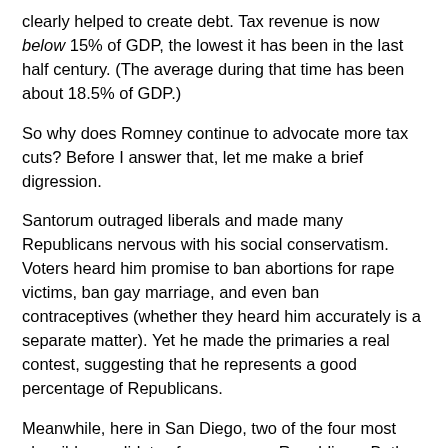clearly helped to create debt. Tax revenue is now below 15% of GDP, the lowest it has been in the last half century. (The average during that time has been about 18.5% of GDP.)
So why does Romney continue to advocate more tax cuts? Before I answer that, let me make a brief digression.
Santorum outraged liberals and made many Republicans nervous with his social conservatism. Voters heard him promise to ban abortions for rape victims, ban gay marriage, and even ban contraceptives (whether they heard him accurately is a separate matter). Yet he made the primaries a real contest, suggesting that he represents a good percentage of Republicans.
Meanwhile, here in San Diego, two of the four most plausible candidates for mayor are Republican. Both are gay and at least one took advantage of California law to marry her partner. (She says that it was harder for her to come out to her parents as a Republican than to come out to them as gay.)